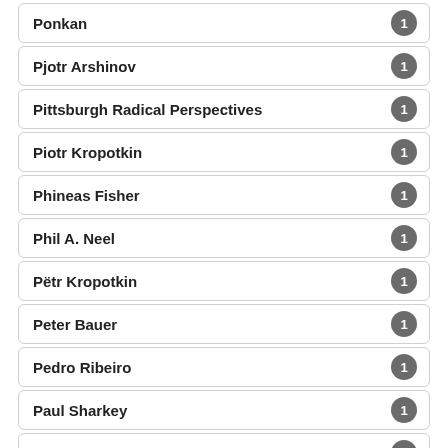Ponkan 1
Pjotr Arshinov 1
Pittsburgh Radical Perspectives 1
Piotr Kropotkin 1
Phineas Fisher 1
Phil A. Neel 1
Pëtr Kropotkin 1
Peter Bauer 1
Pedro Ribeiro 1
Paul Sharkey 1
Oxalis 1